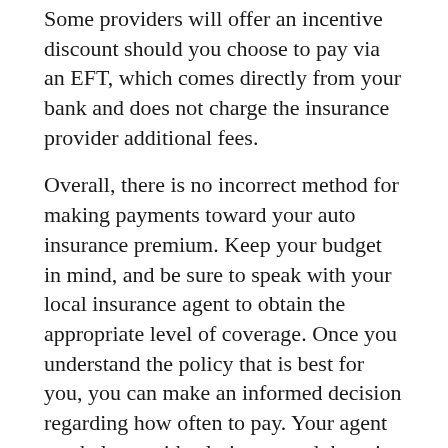Some providers will offer an incentive discount should you choose to pay via an EFT, which comes directly from your bank and does not charge the insurance provider additional fees.
Overall, there is no incorrect method for making payments toward your auto insurance premium. Keep your budget in mind, and be sure to speak with your local insurance agent to obtain the appropriate level of coverage. Once you understand the policy that is best for you, you can make an informed decision regarding how often to pay. Your agent can help provide clarity around the price differences between paying monthly and annually, so contact your local insurance agent today.